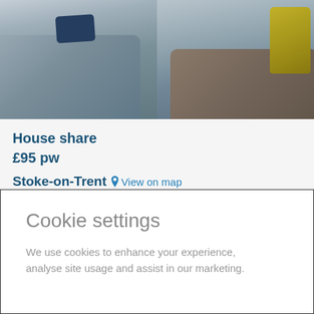[Figure (photo): Interior photo of a living room showing grey sofas/couches with a dark blue pillow on the left side, and a brown sofa with yellow/mustard cushions on the right side, against a light background.]
House share
£95 pw
Stoke-on-Trent  View on map
ST4
Description
* CLEARING OFFER: FIRST 2 WEEKS RENT FREE *
A convenient, well placed 3 bedroom student house,
Cookie settings
We use cookies to enhance your experience, analyse site usage and assist in our marketing.